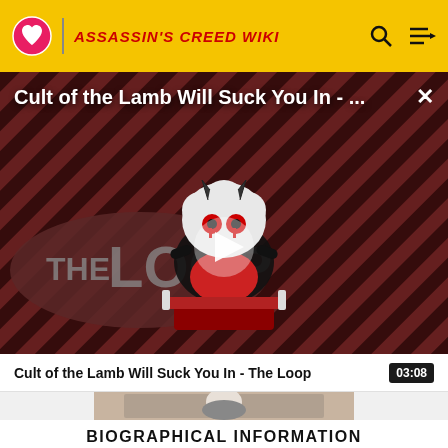ASSASSIN'S CREED WIKI
[Figure (screenshot): Video player showing 'Cult of the Lamb Will Suck You In - ...' with a play button overlay on a red and black diagonal stripe background featuring a cartoon lamb character and THE LOOP branding]
Cult of the Lamb Will Suck You In - The Loop
03:08
[Figure (photo): Thumbnail image showing a character illustration]
BIOGRAPHICAL INFORMATION